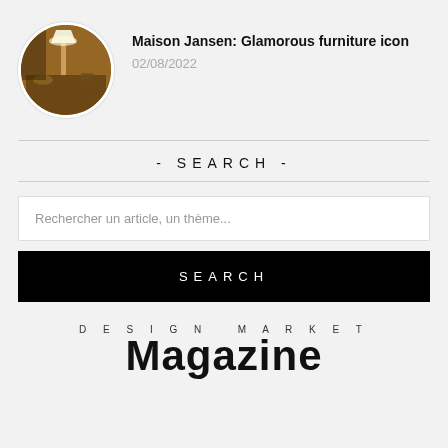[Figure (photo): Circular thumbnail photo of an antique interior with a lamp and decorative items in warm amber tones]
Maison Jansen: Glamorous furniture icon
02/08/2022
- SEARCH -
Rechercher un article, un thème...
SEARCH
DESIGN MARKET
Magazine